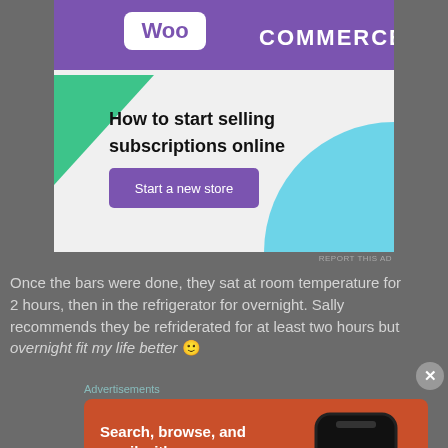[Figure (illustration): WooCommerce advertisement banner with purple header containing WooCommerce logo, decorative green triangle and blue circle shapes, headline 'How to start selling subscriptions online', and a purple 'Start a new store' button]
REPORT THIS AD
Once the bars were done, they sat at room temperature for 2 hours, then in the refrigerator for overnight. Sally recommends they be refriderated for at least two hours but overnight fit my life better 🙂
Advertisements
[Figure (illustration): DuckDuckGo advertisement with orange-red background, white text 'Search, browse, and email with more privacy. All in One Free App' with a phone mockup showing DuckDuckGo logo]
REPORT THIS AD